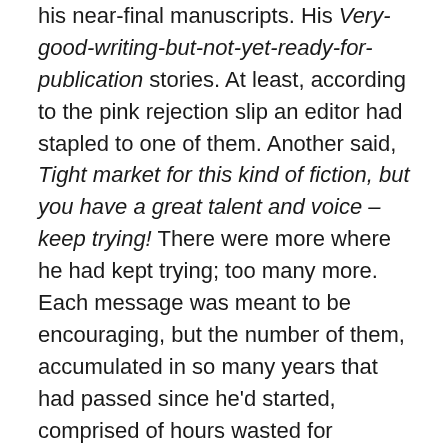his near-final manuscripts. His Very-good-writing-but-not-yet-ready-for-publication stories. At least, according to the pink rejection slip an editor had stapled to one of them. Another said, Tight market for this kind of fiction, but you have a great talent and voice – keep trying! There were more where he had kept trying; too many more. Each message was meant to be encouraging, but the number of them, accumulated in so many years that had passed since he'd started, comprised of hours wasted for nothing, sent a different message.
On top of the pile was his latest manuscript; it didn't have a pink slip.
“Yet,” Pat muttered.
He thumbed through it absent-mindedly, its pages